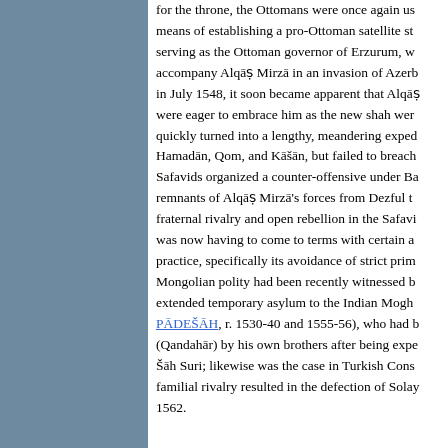for the throne, the Ottomans were once again using him as a means of establishing a pro-Ottoman satellite state. Although serving as the Ottoman governor of Erzurum, when ordered to accompany Alqāṣ Mirzā in an invasion of Azerbaijan beginning in July 1548, it soon became apparent that Alqāṣ Mirzā Iranians were eager to embrace him as the new shah were few. What quickly turned into a lengthy, meandering expedition reaching Hamadān, Qom, and Kāšān, but failed to breach Isfahan. The Safavids organized a counter-offensive under Bahrām Mirzā and remnants of Alqāṣ Mirzā's forces from Dezful to deal with the fraternal rivalry and open rebellion in the Safavid state. Tahmāsp was now having to come to terms with certain aspects of Safavid practice, specifically its avoidance of strict primogeniture. The Mongolian polity had been recently witnessed by Tahmāsp, who extended temporary asylum to the Indian Moghul PĀDEŠĀH, r. 1530-40 and 1555-56), who had been driven from Qandahār (Qandahār) by his own brothers after being expelled by the Afghan Šāh Suri; likewise was the case in Turkish Constantinople where familial rivalry resulted in the defection of Solaymān's son in 1562.